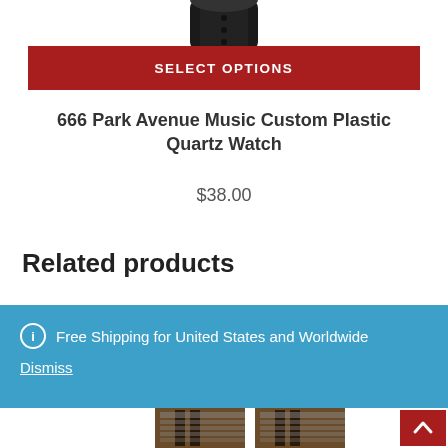[Figure (photo): Top portion of a black wristwatch strap visible at the top of the page, cropped]
SELECT OPTIONS
666 Park Avenue Music Custom Plastic Quartz Watch
$38.00
Related products
Free Shipping for United States and Worldwide
Dismiss
[Figure (photo): Two small product thumbnail images visible at the bottom of the page, partially cut off, showing dark-colored items]